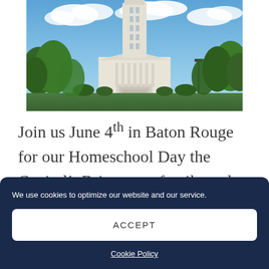[Figure (photo): Photograph of the Louisiana State Capitol building in Baton Rouge, a tall white tower surrounded by trees and manicured grounds under a partly cloudy blue sky.]
Join us June 4th in Baton Rouge for our Homeschool Day the Capitol!  Bring your family and learn about the legislative process, meet other like-
We use cookies to optimize our website and our service.
ACCEPT
Cookie Policy